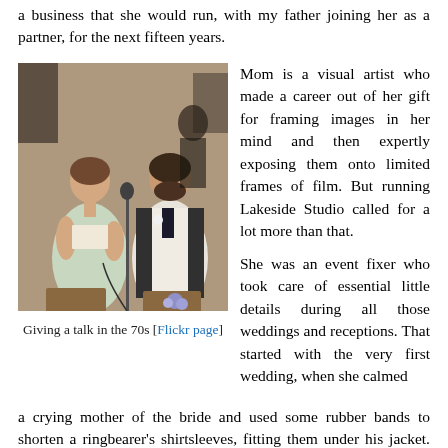a business that she would run, with my father joining her as a partner, for the next fifteen years.
[Figure (photo): A woman in a light green sleeveless dress sitting and reading from a paper at a microphone stand, next to a man in a white vest and black tie, at what appears to be a wedding or event in the 1970s.]
Giving a talk in the 70s [Flickr page]
Mom is a visual artist who made a career out of her gift for framing images in her mind and then expertly exposing them onto limited frames of film. But running Lakeside Studio called for a lot more than that.
She was an event fixer who took care of essential little details during all those weddings and receptions. That started with the very first wedding, when she calmed a crying mother of the bride and used some rubber bands to shorten a ringbearer's shirtsleeves, fitting them under his jacket. Mom usually helped the brides with their wedding gowns. They were